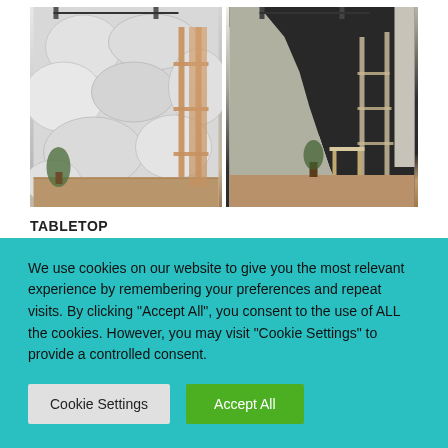[Figure (photo): Two interior room scenes side by side showing wall murals. Left image: white stone/rock pattern wall mural in a room with wooden shelving unit and plant. Right image: dark cave/rock texture wall mural in a room with ladder shelf and stool.]
TABLETOP
PLACEMATS
COASTERS
COFFEE MUGS 2 sizes
CUTTING BOARDS (partially visible)
We use cookies on our website to give you the most relevant experience by remembering your preferences and repeat visits. By clicking "Accept All", you consent to the use of ALL the cookies. However, you may visit "Cookie Settings" to provide a controlled consent.
Cookie Settings  Accept All